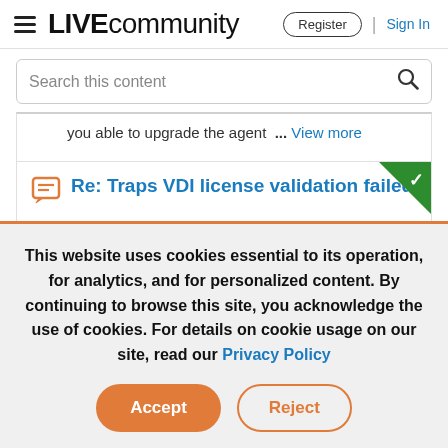LIVE community | Register | Sign In
Search this content
you able to upgrade the agent ... View more
Re: Traps VDI license validation failed
This website uses cookies essential to its operation, for analytics, and for personalized content. By continuing to browse this site, you acknowledge the use of cookies. For details on cookie usage on our site, read our Privacy Policy